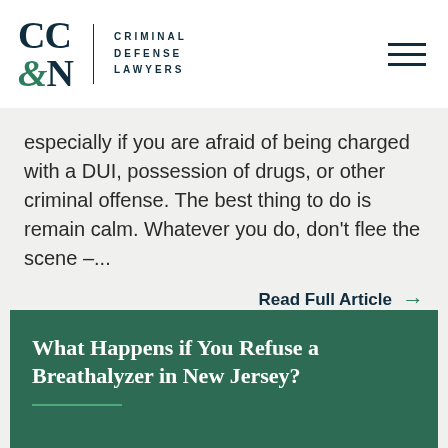[Figure (logo): CC&N Criminal Defense Lawyers logo with stylized letters CC&N in dark navy and green ampersand, beside divider and text CRIMINAL DEFENSE LAWYERS]
especially if you are afraid of being charged with a DUI, possession of drugs, or other criminal offense. The best thing to do is remain calm. Whatever you do, don't flee the scene –...
Read Full Article →
What Happens if You Refuse a Breathalyzer in New Jersey?